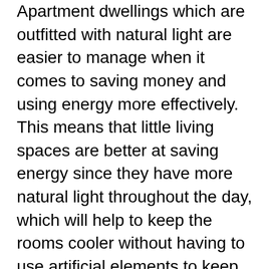Apartment dwellings which are outfitted with natural light are easier to manage when it comes to saving money and using energy more effectively. This means that little living spaces are better at saving energy since they have more natural light throughout the day, which will help to keep the rooms cooler without having to use artificial elements to keep down the temperature. This makes it simpler for small spaces to conserve energy since they're more energy efficient, meaning that the units will not need as much electricity as larger spaces. This can be especially beneficial in the summer months when the sun is shining brightly and utilizing a lot of electricity is far more expensive.
Another advantage that comes with many